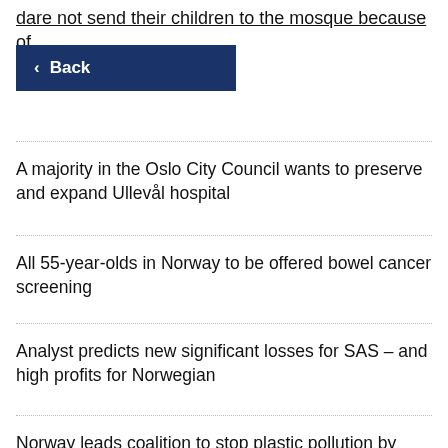dare not send their children to the mosque because of
Back
A majority in the Oslo City Council wants to preserve and expand Ullevål hospital
All 55-year-olds in Norway to be offered bowel cancer screening
Analyst predicts new significant losses for SAS – and high profits for Norwegian
Norway leads coalition to stop plastic pollution by 2040